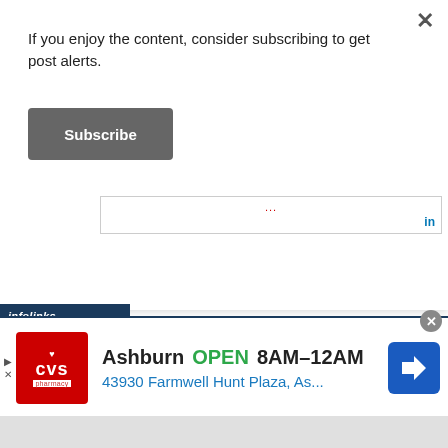If you enjoy the content, consider subscribing to get post alerts.
[Figure (screenshot): Subscribe button - dark gray rounded rectangle with white bold text 'Subscribe']
[Figure (screenshot): LinkedIn embedded widget bar with red dots and 'in' logo]
[Figure (screenshot): Infolinks ad label bar in dark navy blue with white italic text 'infolinks']
[Figure (screenshot): CVS Pharmacy advertisement showing: Ashburn OPEN 8AM-12AM, 43930 Farmwell Hunt Plaza, As... with CVS logo and blue direction arrow]